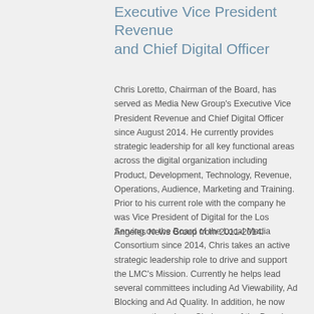Executive Vice President Revenue and Chief Digital Officer
Chris Loretto, Chairman of the Board, has served as Media New Group's Executive Vice President Revenue and Chief Digital Officer since August 2014. He currently provides strategic leadership for all key functional areas across the digital organization including Product, Development, Technology, Revenue, Operations, Audience, Marketing and Training. Prior to his current role with the company he was Vice President of Digital for the Los Angeles News Group from 2011-2014.
Serving on the Board of the Local Media Consortium since 2014, Chris takes an active strategic leadership role to drive and support the LMC's Mission. Currently he helps lead several committees including Ad Viewability, Ad Blocking and Ad Quality. In addition, he now assumes the role as Chairman of the Board